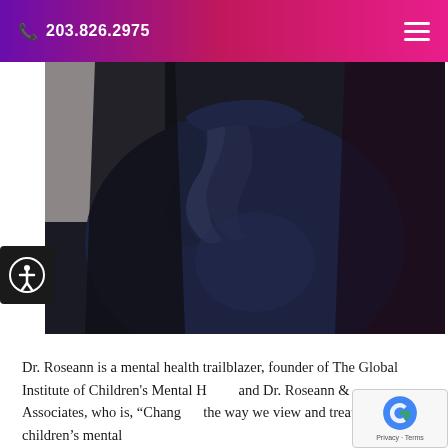📞 203.826.2975
[Figure (photo): Close-up photo of a person wearing a dark navy blue ruffled blouse/dress with sheer sleeves, torso visible]
Dr. Roseann is a mental health trailblazer, founder of The Global Institute of Children's Mental Health and Dr. Roseann & Associates, who is, "Changing the way we view and treat children's mental health." FORBES